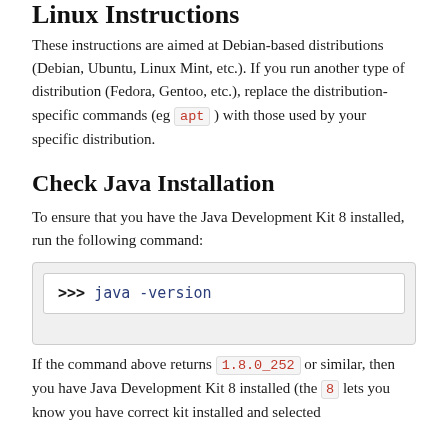Linux Instructions
These instructions are aimed at Debian-based distributions (Debian, Ubuntu, Linux Mint, etc.). If you run another type of distribution (Fedora, Gentoo, etc.), replace the distribution-specific commands (eg apt ) with those used by your specific distribution.
Check Java Installation
To ensure that you have the Java Development Kit 8 installed, run the following command:
>>> java -version
If the command above returns 1.8.0_252 or similar, then you have Java Development Kit 8 installed (the 8 lets you know you have correct kit installed and selected